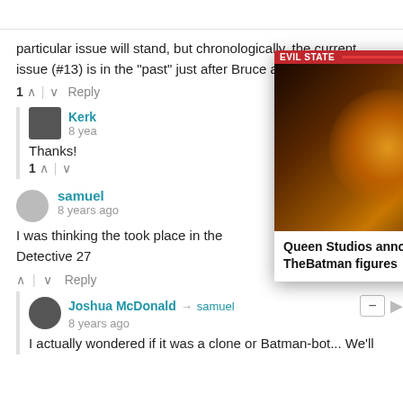particular issue will stand, but chronologically, the current issue (#13) is in the "past" just after Bruce and Clark meet.
1 ^ | v Reply
Kerk
8 yea
Thanks!
1 ^ | v
samuel
8 years ago
I was thinking the took place in the Detective 27
^ | v Reply
[Figure (screenshot): Video popup overlay showing Batman silhouette against glowing circular light. Title bar reads 'Queen Studios announces1/6... TheBatman figures'. Has close X button, three-dot menu, and orange play button arrow.]
Joshua McDonald → samuel
8 years ago
I actually wondered if it was a clone or Batman-bot... We'll